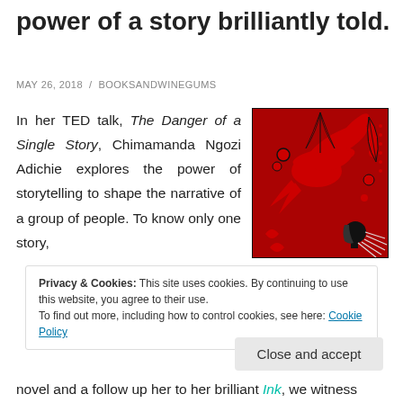power of a story brilliantly told.
MAY 26, 2018 / BOOKSANDWINEGUMS
In her TED talk, The Danger of a Single Story, Chimamanda Ngozi Adichie explores the power of storytelling to shape the narrative of a group of people. To know only one story,
[Figure (illustration): Book cover with red and black folk art design featuring a bird and a woman's profile silhouette surrounded by floral and leaf motifs]
Privacy & Cookies: This site uses cookies. By continuing to use this website, you agree to their use.
To find out more, including how to control cookies, see here: Cookie Policy
Close and accept
novel and a follow up her to her brilliant Ink, we witness